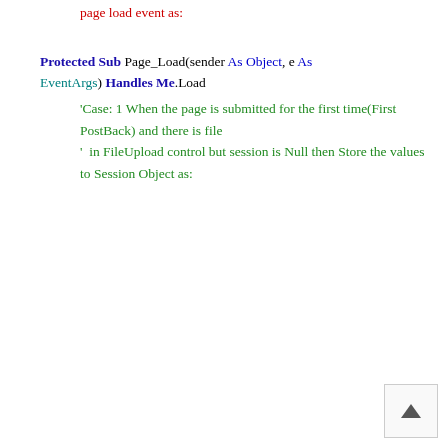page load event as:
Protected Sub Page_Load(sender As Object, e As EventArgs) Handles Me.Load
    'Case: 1 When the page is submitted for the first time(First PostBack) and there is file
    '  in FileUpload control but session is Null then Store the values to Session Object as: